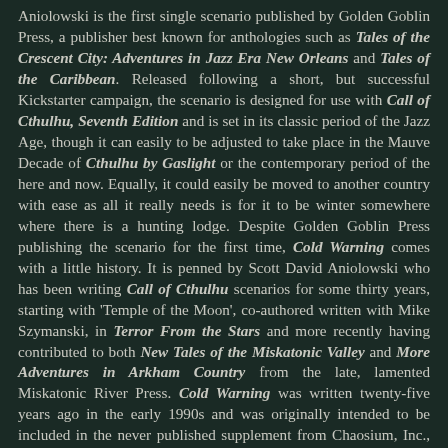Aniolowski is the first single scenario published by Golden Goblin Press, a publisher best known for anthologies such as Tales of the Crescent City: Adventures in Jazz Era New Orleans and Tales of the Caribbean. Released following a short, but successful Kickstarter campaign, the scenario is designed for use with Call of Cthulhu, Seventh Edition and is set in its classic period of the Jazz Age, though it can easily to be adjusted to take place in the Mauve Decade of Cthulhu by Gaslight or the contemporary period of the here and now. Equally, it could easily be moved to another country with ease as all it really needs is for it to be winter somewhere where there is a hunting lodge. Despite Golden Goblin Press publishing the scenario for the first time, Cold Warning comes with a little history. It is penned by Scott David Aniolowski who has been writing Call of Cthulhu scenarios for some thirty years, starting with 'Temple of the Moon', co-authored written with Mike Szymanski, in Terror From the Stars and more recently having contributed to both New Tales of the Miskatonic Valley and More Adventures in Arkham Country from the late, lamented Miskatonic River Press. Cold Warning was written twenty-five years ago in the early 1990s and was originally intended to be included in the never published supplement from Chaosium, Inc., Amerikan Gothik. In the 2000s, there was the possibility that it